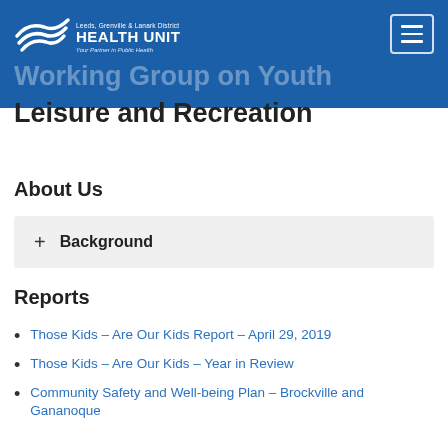Leeds, Grenville & Lanark District Health Unit — Working Group on Youth Leisure and Recreation
Leisure and Recreation
About Us
+ Background
Reports
Those Kids – Are Our Kids Report – April 29, 2019
Those Kids – Are Our Kids – Year in Review
Community Safety and Well-being Plan – Brockville and Gananoque